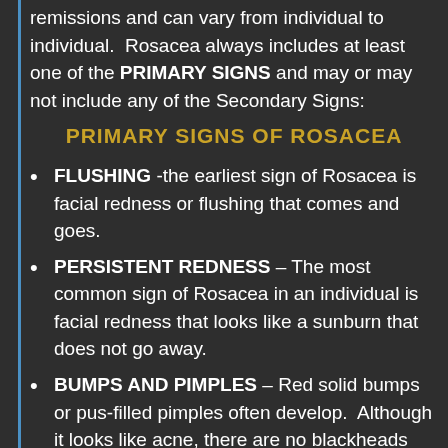remissions and can vary from individual to individual.  Rosacea always includes at least one of the PRIMARY SIGNS and may or may not include any of the Secondary Signs:
PRIMARY SIGNS OF ROSACEA
FLUSHING -the earliest sign of Rosacea is facial redness or flushing that comes and goes.
PERSISTENT REDNESS – The most common sign of Rosacea in an individual is facial redness that looks like a sunburn that does not go away.
BUMPS AND PIMPLES – Red solid bumps or pus-filled pimples often develop.  Although it looks like acne, there are no blackheads